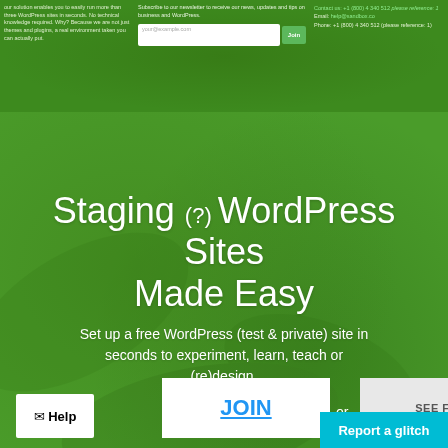our solution enables you to easily run more than three WordPress sites in seconds. No technical knowledge required. Why? Because we are not just themes and plugins, a real environment taken you can actually put.
Subscribe to our newsletter to receive our news, updates and tips on business and WordPress.
your@example.com
Contact us: +1 (800) 4 340 512 please reference: 1
Email: help@sandbox.co
Staging (?) WordPress Sites Made Easy
Set up a free WordPress (test & private) site in seconds to experiment, learn, teach or (re)design.
[Figure (other): Scroll-to-top arrow button (grey rounded square with white up-chevron)]
JOIN
or
SEE FEATURES
Report a glitch
Help